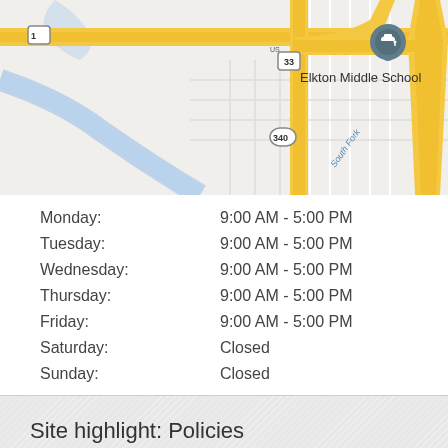[Figure (map): Street map showing road network near Elkton Middle School, with South Fork waterway, route markers 33 and 340, and yellow highlighted main roads.]
| Day | Hours |
| --- | --- |
| Monday: | 9:00 AM - 5:00 PM |
| Tuesday: | 9:00 AM - 5:00 PM |
| Wednesday: | 9:00 AM - 5:00 PM |
| Thursday: | 9:00 AM - 5:00 PM |
| Friday: | 9:00 AM - 5:00 PM |
| Saturday: | Closed |
| Sunday: | Closed |
Site highlight: Policies